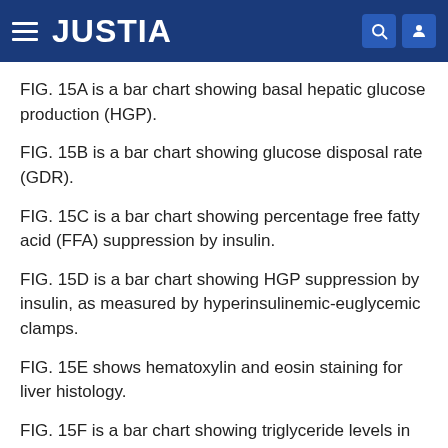JUSTIA
FIG. 15A is a bar chart showing basal hepatic glucose production (HGP).
FIG. 15B is a bar chart showing glucose disposal rate (GDR).
FIG. 15C is a bar chart showing percentage free fatty acid (FFA) suppression by insulin.
FIG. 15D is a bar chart showing HGP suppression by insulin, as measured by hyperinsulinemic-euglycemic clamps.
FIG. 15E shows hematoxylin and eosin staining for liver histology.
FIG. 15F is a bar chart showing triglyceride levels in the li...